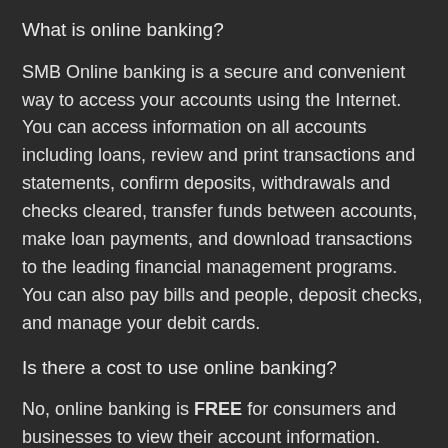What is online banking?
SMB Online banking is a secure and convenient way to access your accounts using the Internet. You can access information on all accounts including loans, review and print transactions and statements, confirm deposits, withdrawals and checks cleared, transfer funds between accounts, make loan payments, and download transactions to the leading financial management programs. You can also pay bills and people, deposit checks, and manage your debit cards.
Is there a cost to use online banking?
No, online banking is FREE for consumers and businesses to view their account information.
If you’re interested in combining accounts with different